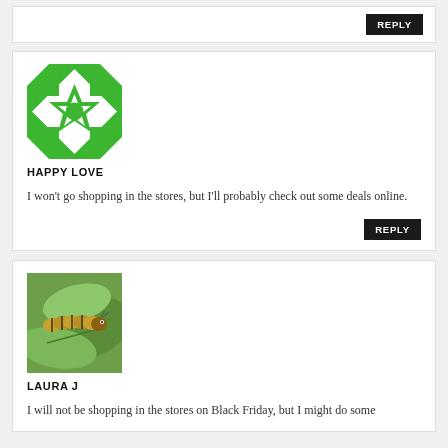REPLY
[Figure (illustration): Green and white geometric quilt-pattern avatar icon for user Happy Love]
HAPPY LOVE
I won't go shopping in the stores, but I'll probably check out some deals online.
REPLY
[Figure (photo): Photo of a caterpillar on a green leaf, avatar for user Laura J]
LAURA J
I will not be shopping in the stores on Black Friday, but I might do some